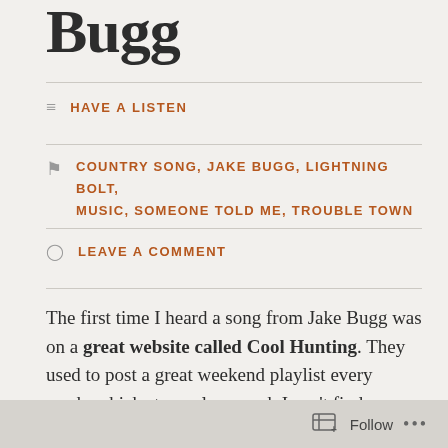Bugg
HAVE A LISTEN
COUNTRY SONG, JAKE BUGG, LIGHTNING BOLT, MUSIC, SOMEONE TOLD ME, TROUBLE TOWN
LEAVE A COMMENT
The first time I heard a song from Jake Bugg was on a great website called Cool Hunting. They used to post a great weekend playlist every week, which strangely enough I can't find on their updated site. hmm?
Follow ...